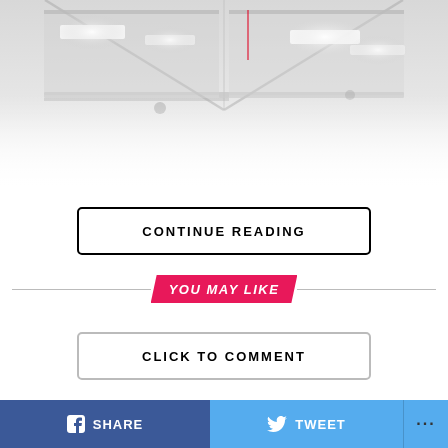[Figure (photo): Interior ceiling photograph showing industrial lighting, pipes, and structural beams in a large indoor space, fading to white at the bottom.]
CONTINUE READING
YOU MAY LIKE
CLICK TO COMMENT
SHARE   TWEET   ...